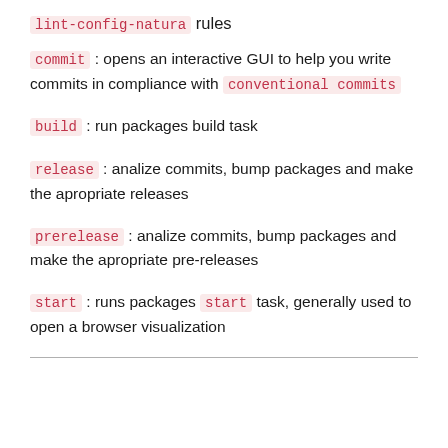lint-config-natura rules
commit : opens an interactive GUI to help you write commits in compliance with conventional commits
build : run packages build task
release : analize commits, bump packages and make the apropriate releases
prerelease : analize commits, bump packages and make the apropriate pre-releases
start : runs packages start task, generally used to open a browser visualization